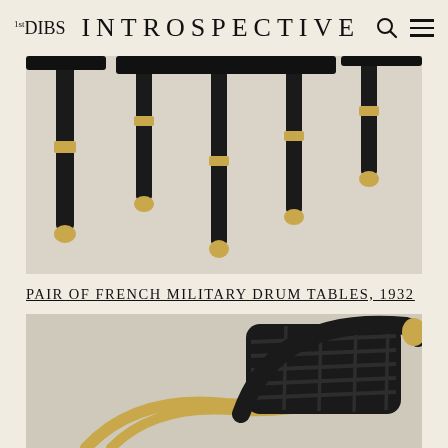1stDIBS  INTROSPECTIVE
[Figure (photo): Close-up photo of black lacquered table legs with gold/brass ball feet and brass ring accents against a light background, showing multiple table legs from a pair of French military drum tables]
PAIR OF FRENCH MILITARY DRUM TABLES, 1932
[Figure (photo): Close-up photo of a chair or lounger with gold/brass tubular frame and black leather or woven strap seat and back, partially visible against a light background]